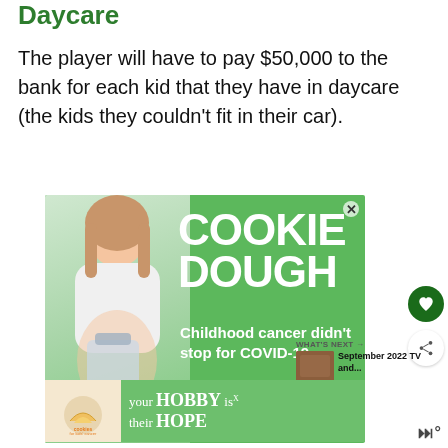Daycare
The player will have to pay $50,000 to the bank for each kid that they have in daycare (the kids they couldn't fit in their car).
[Figure (photo): Advertisement for 'Cookie Dough - Cookies for Kids Cancer' featuring a smiling girl holding a jar of money, with text: COOKIE DOUGH, Childhood cancer didn't stop for COVID-19. LETS GET BAKING, cookies for kids' cancer]
[Figure (photo): Second advertisement for 'your HOBBY is their HOPE' cookies for kids cancer, showing hands holding a heart-shaped cookie]